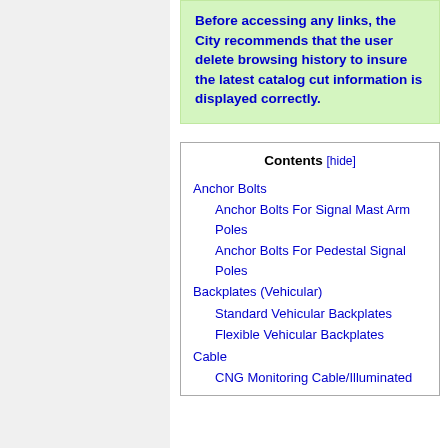Before accessing any links, the City recommends that the user delete browsing history to insure the latest catalog cut information is displayed correctly.
| Contents |
| --- |
| Anchor Bolts |
| Anchor Bolts For Signal Mast Arm Poles |
| Anchor Bolts For Pedestal Signal Poles |
| Backplates (Vehicular) |
| Standard Vehicular Backplates |
| Flexible Vehicular Backplates |
| Cable |
| CNG Monitoring Cable/Illuminated |